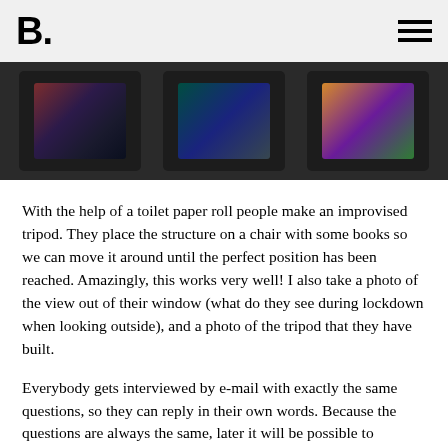B.
[Figure (photo): Dark background image strip showing three smartphone screens in portrait orientation, each displaying video call or photo scenes with people]
With the help of a toilet paper roll people make an improvised tripod. They place the structure on a chair with some books so we can move it around until the perfect position has been reached. Amazingly, this works very well! I also take a photo of the view out of their window (what do they see during lockdown when looking outside), and a photo of the tripod that they have built.
Everybody gets interviewed by e-mail with exactly the same questions, so they can reply in their own words. Because the questions are always the same, later it will be possible to compare cultures, ages and nationalities.
This documentary spreads exactly like the virus: through the grapevine. So far, there are over 25 stories from 15 different